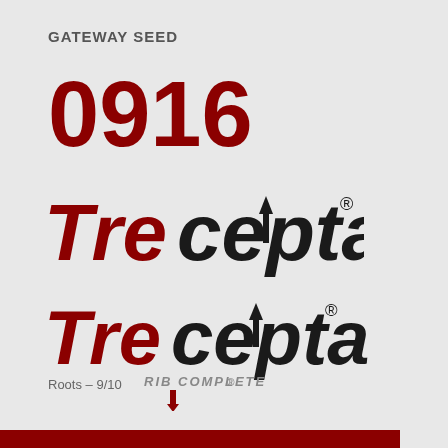GATEWAY SEED
0916
[Figure (logo): Trecepta logo — 'Tre' in dark red italic bold, 'cepta' in black bold with upward arrow through the 't', registered trademark symbol]
[Figure (logo): Trecepta RIB COMPLETE logo — 'Tre' in dark red italic bold, 'cepta' in black bold with upward arrow through the 't', registered trademark symbol, 'RIB COMPLETE' subtitle with downward arrow below]
Roots – 9/10